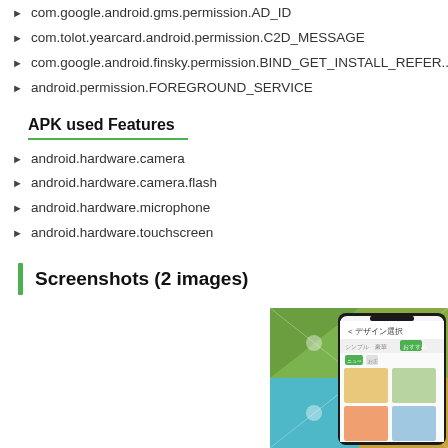com.google.android.gms.permission.AD_ID
com.tolot.yearcard.android.permission.C2D_MESSAGE
com.google.android.finsky.permission.BIND_GET_INSTALL_REFER...
android.permission.FOREGROUND_SERVICE
APK used Features
android.hardware.camera
android.hardware.camera.flash
android.hardware.microphone
android.hardware.touchscreen
Screenshots (2 images)
[Figure (screenshot): App screenshot showing a Japanese app interface with design selection screen and colorful card designs in the background]